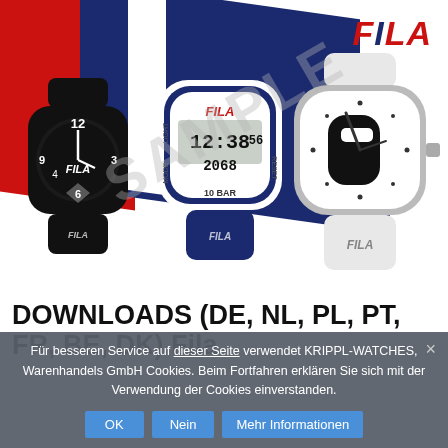[Figure (photo): FILA branded advertisement showing three watches on a red, white and blue background. A black analog watch on the left, a navy/white digital watch in the center showing 12:38:56 and 2068, 10 BAR, and a white analog watch with large FILA F logo on the right. FILA logo in top right corner. SAMPLE watermark across the image.]
DOWNLOADS (DE, NL, PL, PT, FR, BE, DK) Fila
Für besseren Service auf dieser Seite verwendet KRIPPL-WATCHES, Warenhandels GmbH Cookies. Beim Fortfahren erklären Sie sich mit der Verwendung der Cookies einverstanden.